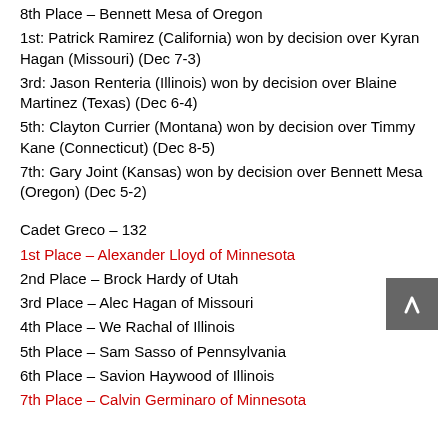8th Place – Bennett Mesa of Oregon
1st: Patrick Ramirez (California) won by decision over Kyran Hagan (Missouri) (Dec 7-3)
3rd: Jason Renteria (Illinois) won by decision over Blaine Martinez (Texas) (Dec 6-4)
5th: Clayton Currier (Montana) won by decision over Timmy Kane (Connecticut) (Dec 8-5)
7th: Gary Joint (Kansas) won by decision over Bennett Mesa (Oregon) (Dec 5-2)
Cadet Greco – 132
1st Place – Alexander Lloyd of Minnesota
2nd Place – Brock Hardy of Utah
3rd Place – Alec Hagan of Missouri
4th Place – We Rachal of Illinois
5th Place – Sam Sasso of Pennsylvania
6th Place – Savion Haywood of Illinois
7th Place – Calvin Germinaro of Minnesota